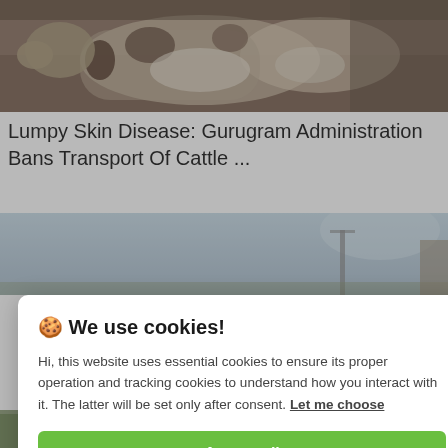[Figure (photo): Top portion of a cattle/cow photo showing the animal's body and head region with brown and white coloring against a dark background]
Lumpy Skin Disease: Gurugram Administration Bans Transport Of Cattle ...
[Figure (photo): Partial view of a second article image showing a light blue sky with what appears to be a cattle/farm structure silhouette]
🍪 We use cookies!
Hi, this website uses essential cookies to ensure its proper operation and tracking cookies to understand how you interact with it. The latter will be set only after consent. Let me choose
Accept all
Reject all